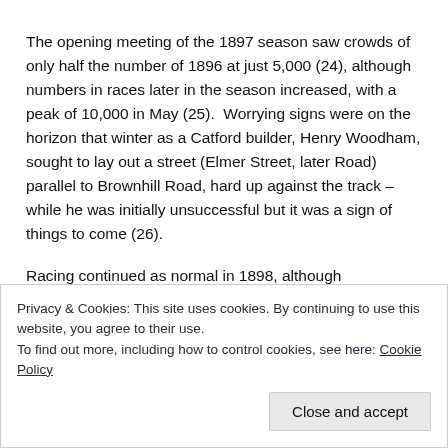The opening meeting of the 1897 season saw crowds of only half the number of 1896 at just 5,000 (24), although numbers in races later in the season increased, with a peak of 10,000 in May (25). Worrying signs were on the horizon that winter as a Catford builder, Henry Woodham, sought to lay out a street (Elmer Street, later Road) parallel to Brownhill Road, hard up against the track – while he was initially unsuccessful but it was a sign of things to come (26).
Racing continued as normal in 1898, although attendances were well down on previous years – the Whit weekend
Privacy & Cookies: This site uses cookies. By continuing to use this website, you agree to their use.
To find out more, including how to control cookies, see here: Cookie Policy
Close and accept